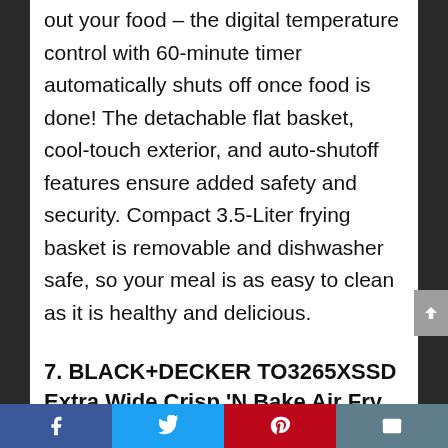out your food – the digital temperature control with 60-minute timer automatically shuts off once food is done! The detachable flat basket, cool-touch exterior, and auto-shutoff features ensure added safety and security. Compact 3.5-Liter frying basket is removable and dishwasher safe, so your meal is as easy to clean as it is healthy and delicious.
7. BLACK+DECKER TO3265XSSD Extra Wide Crisp 'N Bake Air Fry Toaster Oven Fits 9" x 13" Pan Silver